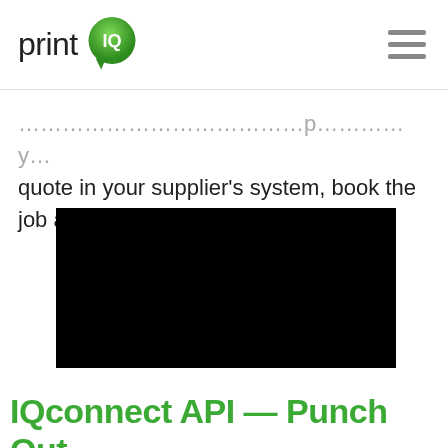print IQ
quote in your supplier's system, book the job and transfer the artwork.
[Figure (screenshot): Black video player thumbnail]
IQconnect API — Punch Out